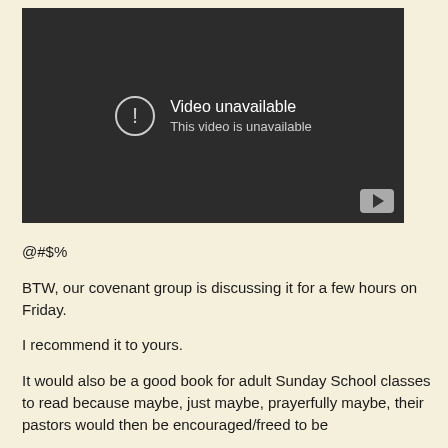[Figure (screenshot): Embedded video player showing 'Video unavailable' error message with a warning icon and YouTube play button in the bottom right corner]
@#$%
BTW, our covenant group is discussing it for a few hours on Friday.
I recommend it to yours.
It would also be a good book for adult Sunday School classes to read because maybe, just maybe, prayerfully maybe, their pastors would then be encouraged/freed to be